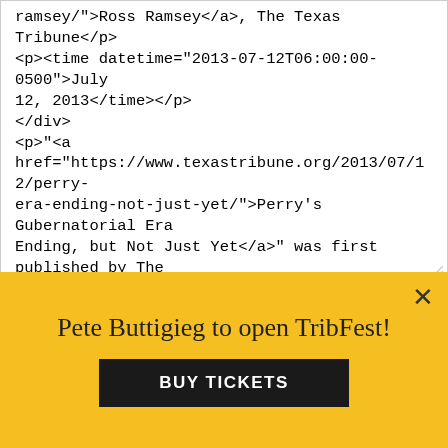ramsey/">Ross Ramsey</a>, The Texas Tribune</p>
<p><time datetime="2013-07-12T06:00:00-0500">July 12, 2013</time></p>
</div>
<p>"<a href="https://www.texastribune.org/2013/07/12/perry-era-ending-not-just-yet/">Perry's Gubernatorial Era Ending, but Not Just Yet</a>" was first published by The Texas Tribune, a nonprofit, nonpartisan media organization that informs Texans — and engages with them — about public policy, politics, government and statewide issues.</p>
<p>The next phase of Texas politics began on Monday, immediately after Gov. <a href="http://www.texastribune.org/directory/rick-perry/">Rick Perry</a> announced that he did not plan
You're welcome to republish our articles and graphics for free using the following ground rules. Let us know if you republish our stories: it makes us
Pete Buttigieg to open TribFest!
BUY TICKETS